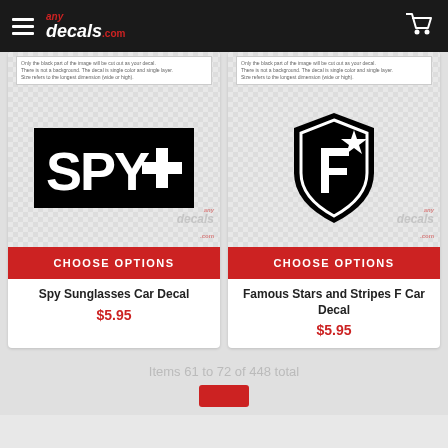anydecals.com
[Figure (screenshot): Spy Sunglasses Car Decal product image showing SPY+ logo in black and white on checkered background with anydecals.com watermark]
CHOOSE OPTIONS
Spy Sunglasses Car Decal
$5.95
[Figure (screenshot): Famous Stars and Stripes F Car Decal product image showing a shield/star logo in black and white on checkered background with anydecals.com watermark]
CHOOSE OPTIONS
Famous Stars and Stripes F Car Decal
$5.95
Items 61 to 72 of 448 total